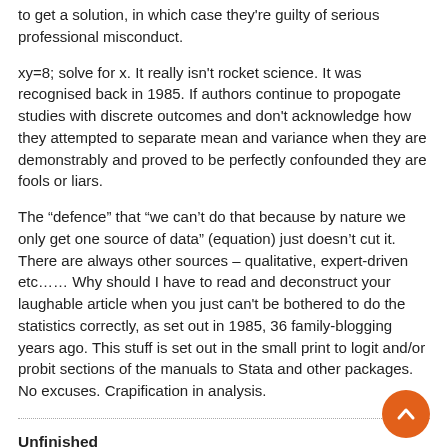to get a solution, in which case they're guilty of serious professional misconduct.
xy=8; solve for x. It really isn't rocket science. It was recognised back in 1985. If authors continue to propogate studies with discrete outcomes and don't acknowledge how they attempted to separate mean and variance when they are demonstrably and proved to be perfectly confounded they are fools or liars.
The “defence” that “we can’t do that because by nature we only get one source of data” (equation) just doesn’t cut it. There are always other sources – qualitative, expert-driven etc…… Why should I have to read and deconstruct your laughable article when you just can't be bothered to do the statistics correctly, as set out in 1985, 36 family-blogging years ago. This stuff is set out in the small print to logit and/or probit sections of the manuals to Stata and other packages. No excuses. Crapification in analysis.
Unfinished
June 2, 2021 at 2:04 pm
It seems that the spike protein itself may be a toxin, and there is now evidence that it can get into circulation after